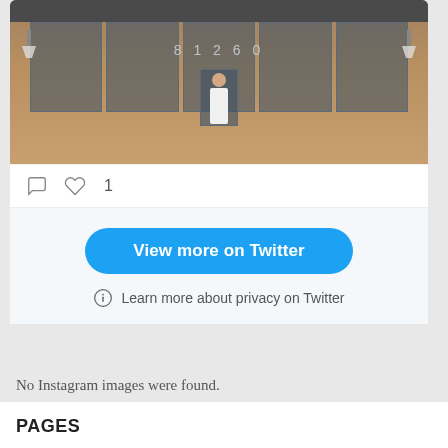[Figure (photo): Photo of a store front building with glass windows, a person standing in front of the entrance door, and lamps on the sides. The store number 8 1 2 6 0 is visible on the window.]
1
View more on Twitter
Learn more about privacy on Twitter
No Instagram images were found.
PAGES
About